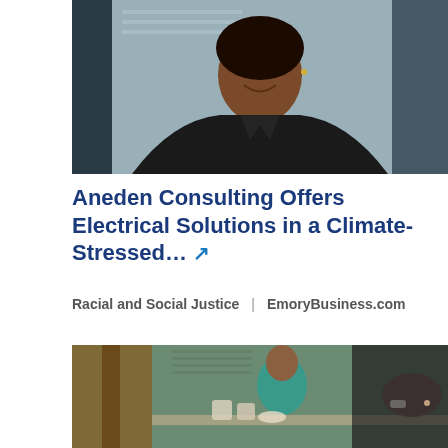[Figure (photo): Professional headshot of a smiling Black woman wearing a black blazer over a magenta/floral top, photographed against a blurred interior background.]
Aneden Consulting Offers Electrical Solutions in a Climate-Stressed… ↗
Racial and Social Justice | EmoryBusiness.com
[Figure (photo): People seated at a table in what appears to be a casual dining or meeting setting; a woman in a teal top is visible in the background, and another person in dark clothing is visible in the foreground bent over the table.]